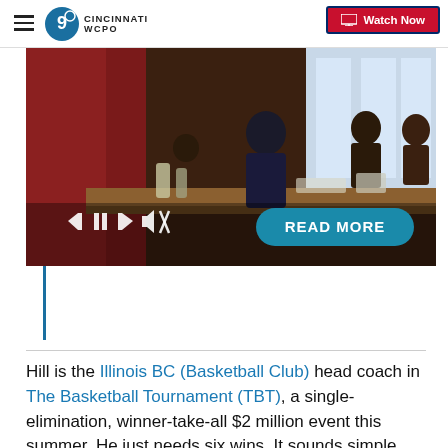WCPO Cincinnati | Watch Now
[Figure (screenshot): Video player showing a classroom scene with people standing and seated at desks. Video controls (skip back, pause, skip forward, mute) visible at bottom left. A teal 'READ MORE' button overlays the bottom right of the video.]
Hill is the Illinois BC (Basketball Club) head coach in The Basketball Tournament (TBT), a single-elimination, winner-take-all $2 million event this summer. He just needs six wins. It sounds simple enough.